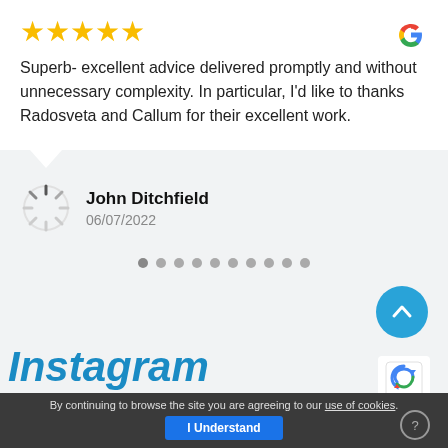★★★★★
[Figure (logo): Google logo (colored G) top right]
Superb- excellent advice delivered promptly and without unnecessary complexity. In particular, I'd like to thanks Radosveta and Callum for their excellent work.
John Ditchfield
06/07/2022
[Figure (other): Pagination dots row, 10 dots, first one darker]
[Figure (other): Blue circular scroll-to-top button with upward chevron]
Instagram
[Figure (other): reCAPTCHA badge (puzzle piece logo)]
By continuing to browse the site you are agreeing to our use of cookies.
I Understand